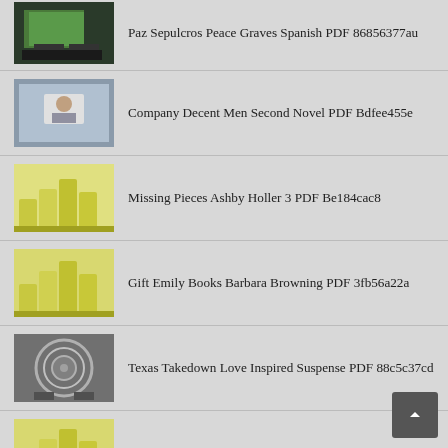Paz Sepulcros Peace Graves Spanish PDF 86856377au
Company Decent Men Second Novel PDF Bdfee455e
Missing Pieces Ashby Holler 3 PDF Be184cac8
Gift Emily Books Barbara Browning PDF 3fb56a22a
Texas Takedown Love Inspired Suspense PDF 88c5c37cd
Rising Tide Sidney Lowcountry Mystery PDF 8a96d0d7b
Traffic Jennings Detective Mystery Thriller PDF 467a1e29d